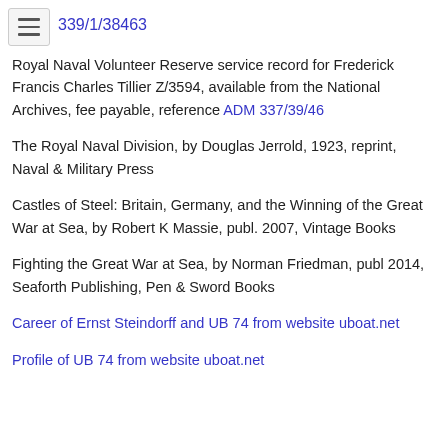339/1/38463
Royal Naval Volunteer Reserve service record for Frederick Francis Charles Tillier Z/3594, available from the National Archives, fee payable, reference ADM 337/39/46
The Royal Naval Division, by Douglas Jerrold, 1923, reprint, Naval & Military Press
Castles of Steel: Britain, Germany, and the Winning of the Great War at Sea, by Robert K Massie, publ. 2007, Vintage Books
Fighting the Great War at Sea, by Norman Friedman, publ 2014, Seaforth Publishing, Pen & Sword Books
Career of Ernst Steindorff and UB 74 from website uboat.net
Profile of UB 74 from website uboat.net